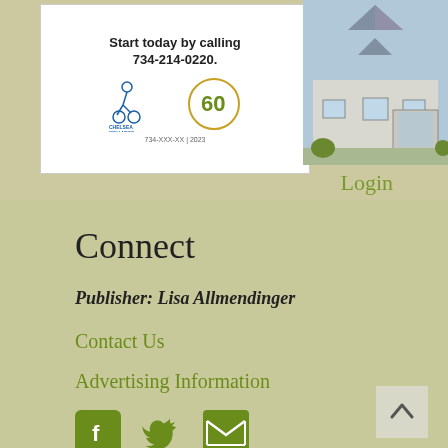[Figure (photo): Chelsea Wellness Center advertisement showing logo and phone number 734-214-0220]
[Figure (photo): Building photo showing a house/church with pointed roof and garage, blue sky]
Login
Connect
Publisher: Lisa Allmendinger
Contact Us
Advertising Information
[Figure (infographic): Social media icons: Facebook, Twitter, Email]